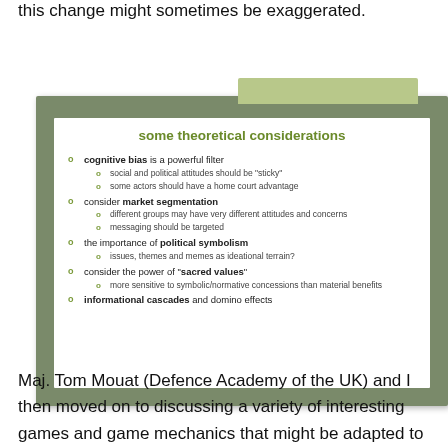this change might sometimes be exaggerated.
[Figure (screenshot): Presentation slide titled 'some theoretical considerations' with bullet points about cognitive bias, market segmentation, political symbolism, sacred values, and informational cascades]
Maj. Tom Mouat (Defence Academy of the UK) and I then moved on to discussing a variety of interesting games and game mechanics that might be adapted to explore such